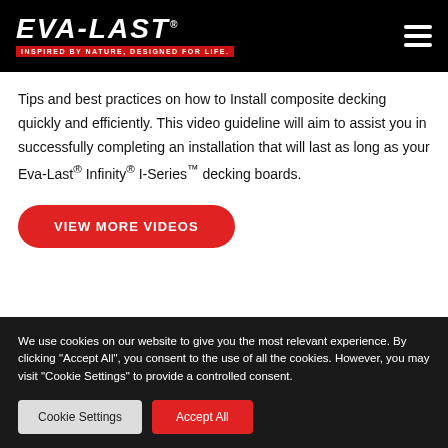EVA-LAST® — INSPIRED BY NATURE, DESIGNED FOR LIFE.
Tips and best practices on how to Install composite decking quickly and efficiently. This video guideline will aim to assist you in successfully completing an installation that will last as long as your Eva-Last® Infinity® I-Series™ decking boards.
VIEW MORE VIDEOS
We use cookies on our website to give you the most relevant experience. By clicking "Accept All", you consent to the use of all the cookies. However, you may visit "Cookie Settings" to provide a controlled consent.
Cookie Settings | Accept All